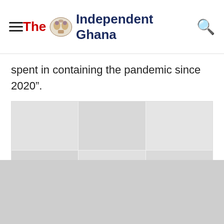The Independent Ghana
spent in containing the pandemic since 2020”.
[Figure (photo): A faded/watermarked photo showing multiple people, likely related to a pandemic-era news article, displayed in a grid of sub-images.]